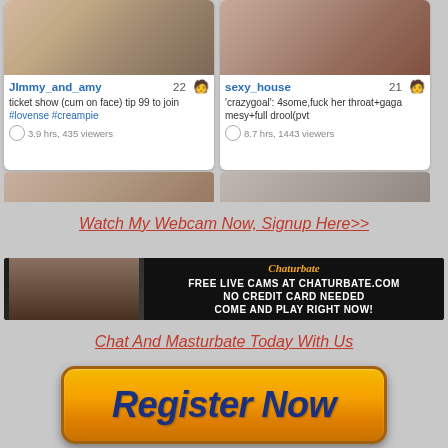[Figure (screenshot): Webcam site grid showing two performer cards. Card 1: username JImmy_and_amy, age 22, description 'ticket show (cum on face) tip 99 to join #lovense #creampie', 3.9 hrs 435 viewers. Card 2: username sexy_house, age 21, description "'crazygoal': 4some,fuck her throat+gaga mesy+full drool(pvt", 8.7 hrs 1443 viewers. Below: partial second row of thumbnails.]
Watch My Webcam Now, Signup Here>>
[Figure (screenshot): Chaturbate banner ad: left side shows a woman's face, right side black background with Chaturbate logo and text 'FREE LIVE CAMS AT CHATURBATE.COM NO CREDIT CARD NEEDED COME AND PLAY RIGHT NOW!']
Chat And Masturbate Today With Us
[Figure (other): Orange gradient 'Register Now' button with dark blue bold italic text]